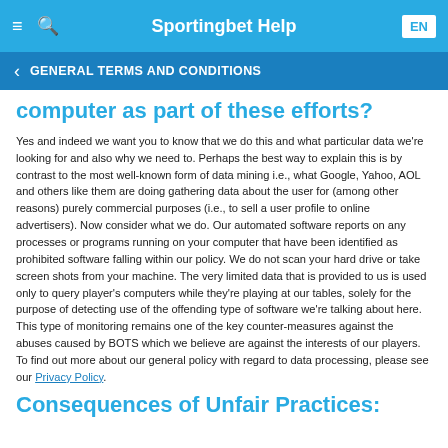Sportingbet Help
GENERAL TERMS AND CONDITIONS
computer as part of these efforts?
Yes and indeed we want you to know that we do this and what particular data we're looking for and also why we need to. Perhaps the best way to explain this is by contrast to the most well-known form of data mining i.e., what Google, Yahoo, AOL and others like them are doing gathering data about the user for (among other reasons) purely commercial purposes (i.e., to sell a user profile to online advertisers). Now consider what we do. Our automated software reports on any processes or programs running on your computer that have been identified as prohibited software falling within our policy. We do not scan your hard drive or take screen shots from your machine. The very limited data that is provided to us is used only to query player's computers while they're playing at our tables, solely for the purpose of detecting use of the offending type of software we're talking about here. This type of monitoring remains one of the key counter-measures against the abuses caused by BOTS which we believe are against the interests of our players. To find out more about our general policy with regard to data processing, please see our Privacy Policy.
Consequences of Unfair Practices: